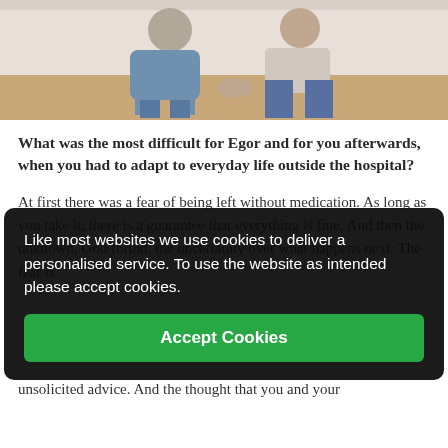[Figure (photo): Two people sitting together, one appears to be a patient and the other a caregiver or family member, in a room with wooden floors]
What was the most difficult for Egor and for you afterwards, when you had to adapt to everyday life outside the hospital?
At first there was a fear of being left without medication. As long as you take it, there is a guarantee that everything is fine. And then the unknown, God forbid, the uncertainty over what happens next. The fear is constantly realised.
Like most websites we use cookies to deliver a personalised service. To use the website as intended please accept cookies.
Accept Cookies
unsolicited advice. And the thought that you and your